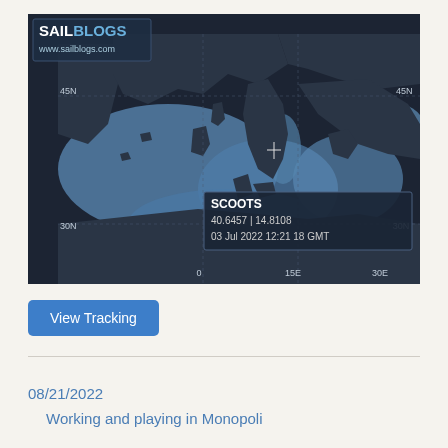[Figure (map): Sailblogs.com map of the Mediterranean Sea showing vessel SCOOTS at coordinates 40.6457 | 14.8108, timestamped 03 Jul 2022 12:21 18 GMT. Map shows land in dark color and sea in blue shading with latitude lines at 45N and 30N and longitude markers at 0, 15E, 30E. A SailBlogs logo with www.sailblogs.com is shown in the top-left corner.]
View Tracking
08/21/2022
Working and playing in Monopoli